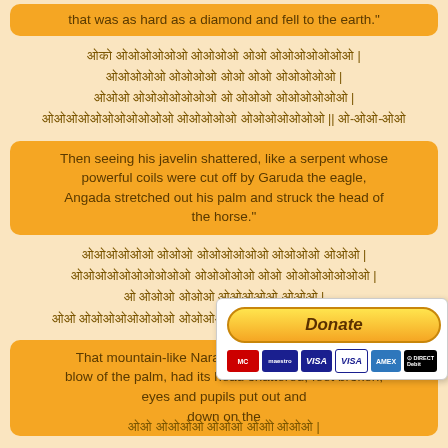that was as hard as a diamond and fell to the earth."
Sanskrit verse (Devanagari) lines 1-4 with verse number
Then seeing his javelin shattered, like a serpent whose powerful coils were cut off by Garuda the eagle, Angada stretched out his palm and struck the head of the horse."
Sanskrit verse (Devanagari) lines 1-4 with verse number
That mountain-like Narantaka's horse, struck by a blow of the palm, had its head shattered, feet broken, eyes and pupils put out and down on the...
[Figure (other): Donate button with PayPal-style design and payment card logos (Mastercard, Maestro, Visa, Visa, Amex, Direct Debit)]
Sanskrit verse (Devanagari) partial line